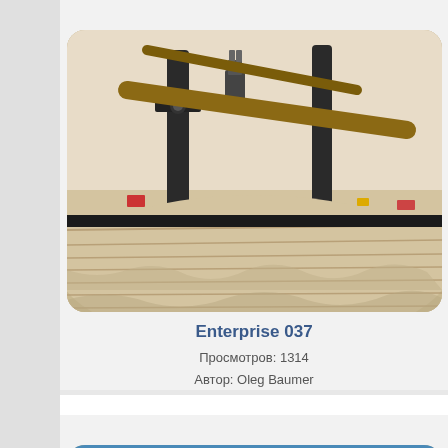[Figure (photo): Photo of a ship model in construction - Enterprise 037, showing hull with wooden planking and clamps holding pieces together]
Enterprise 037
Просмотров: 1314
Автор: Oleg Baumer
[Figure (photo): Photo of another ship model under construction showing wooden frames and planking from above]